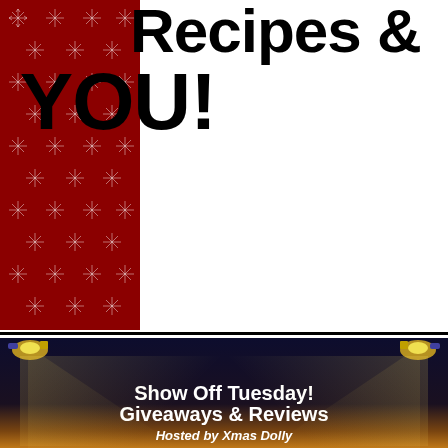Recipes & YOU!
[Figure (illustration): Show Off Tuesday! Giveaways & Reviews banner with spotlights on dark background, hosted by Xmas Dolly]